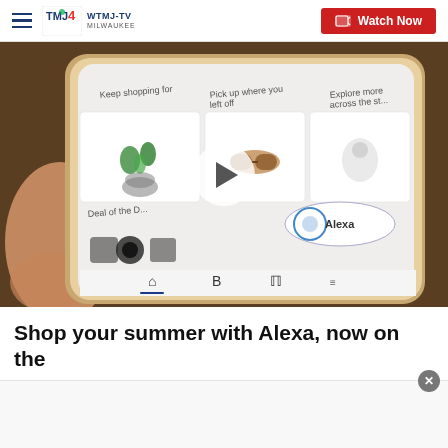WTMJ-TV MILWAUKEE — Watch Now
[Figure (screenshot): A person holding a smartphone displaying the Amazon shopping app with Alexa integration. The screen shows product recommendations including a plant, sunglasses, earbuds, and smart home devices. A video play button overlay is visible in the center of the image.]
Shop your summer with Alexa, now on the